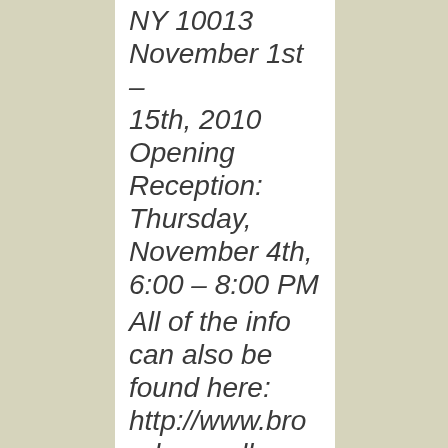NY 10013 November 1st – 15th, 2010 Opening Reception: Thursday, November 4th, 6:00 – 8:00 PM

All of the info can also be found here: http://www.broadwaygallerynyc.com/category/upcoming-